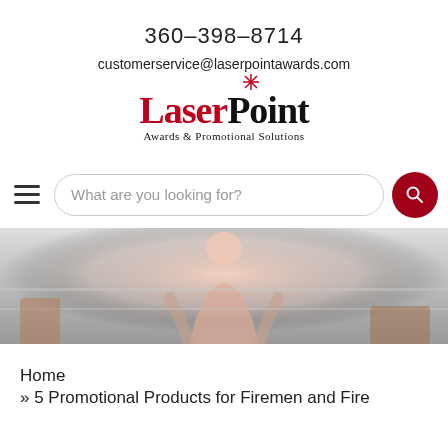360-398-8714
customerservice@laserpointawards.com
[Figure (logo): LaserPoint Awards & Promotional Solutions logo with red star/asterisk above the letter 'i' in Point]
[Figure (screenshot): Navigation bar with hamburger menu icon and search bar reading 'What are you looking for?' with red search button]
[Figure (photo): Hero image showing a person from behind, blurred/muted tones, appears to be in an indoor setting]
Home
» 5 Promotional Products for Firemen and Fire